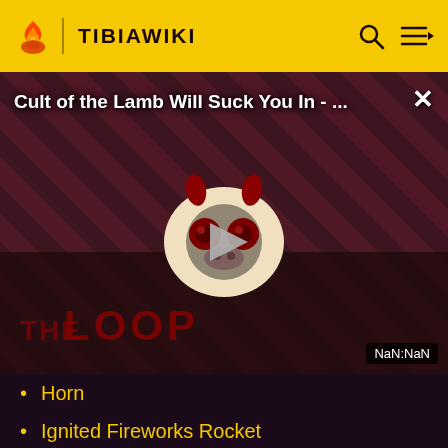TIBIAWIKI
[Figure (screenshot): Video overlay showing 'Cult of the Lamb Will Suck You In - ...' with a play button, THE LOOP branding, and NaN:NaN timestamp on a dark diagonal striped background with a cartoon character]
Horn
Ignited Fireworks Rocket
Imbuing Shrine
Imported Water Pipe
Innocent Target